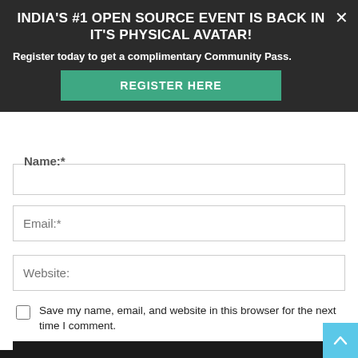INDIA'S #1 OPEN SOURCE EVENT IS BACK IN IT'S PHYSICAL AVATAR!
Register today to get a complimentary Community Pass.
REGISTER HERE
Name:*
Email:*
Website:
Save my name, email, and website in this browser for the next time I comment.
POST COMMENT